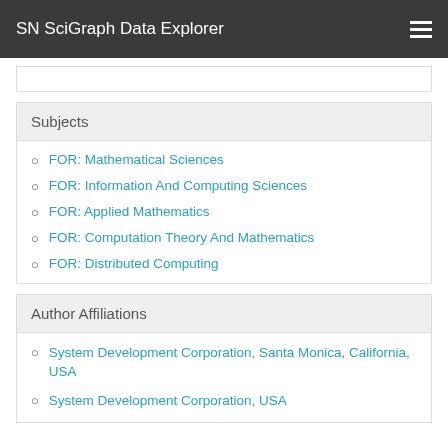SN SciGraph Data Explorer
Subjects
FOR: Mathematical Sciences
FOR: Information And Computing Sciences
FOR: Applied Mathematics
FOR: Computation Theory And Mathematics
FOR: Distributed Computing
Author Affiliations
System Development Corporation, Santa Monica, California, USA
System Development Corporation, USA